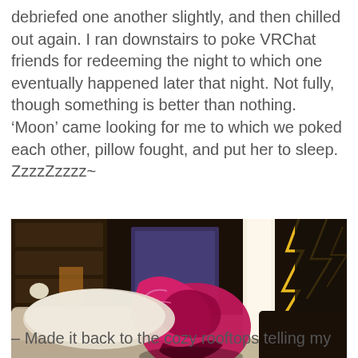debriefed one another slightly, and then chilled out again. I ran downstairs to poke VRChat friends for redeeming the night to which one eventually happened later that night. Not fully, though something is better than nothing. 'Moon' came looking for me to which we poked each other, pillow fought, and put her to sleep. ZzzzZzzzz~
[Figure (screenshot): A VRChat screenshot showing a pink/magenta anthropomorphic character resting on a couch in a cozy virtual room with warm lighting, bookshelves, and yellow lightning effects visible in the background.]
– Made it back to the cozy rooftops telling my